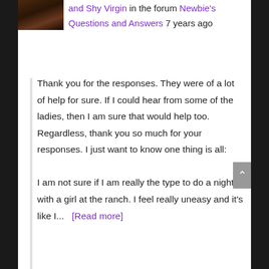[Figure (photo): User avatar thumbnail - dark portrait photo at top left]
and Shy Virgin in the forum Newbie's Questions and Answers 7 years ago
Thank you for the responses. They were of a lot of help for sure. If I could hear from some of the ladies, then I am sure that would help too. Regardless, thank you so much for your responses. I just want to know one thing is all:

I am not sure if I am really the type to do a night with a girl at the ranch. I feel really uneasy and it's like I... [Read more]
[Figure (photo): User avatar thumbnail - dark portrait photo at bottom left]
poeticjustice Share This the topic Nervous